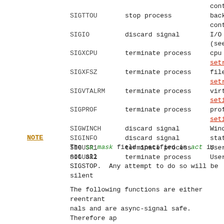| Signal | Action | Description |
| --- | --- | --- |
| SIGTTOU | stop process | background process attempting write, notified by job control... |
| SIGIO | discard signal | I/O is possible on a descriptor (see fcntl(2)) |
| SIGXCPU | terminate process | cpu time limit exceeded (see setrlimit(2)) |
| SIGXFSZ | terminate process | file size limit exceeded (see setrlimit(2)) |
| SIGVTALRM | terminate process | virtual time alarm (see setitimer(2)) |
| SIGPROF | terminate process | profiling timer alarm (see setitimer(2)) |
| SIGWINCH | discard signal | Window size change |
| SIGINFO | discard signal | status request from keyboard |
| SIGUSR1 | terminate process | User defined signal 1 |
| SIGUSR2 | terminate process | User defined signal 2 |
NOTE
The sa_mask field specified in act is not all... SIGSTOP. Any attempt to do so will be silently...
The following functions are either reentrant... nals and are async-signal safe. Therefore ap... without restriction, from signal-catching fun...
Base Interfaces: